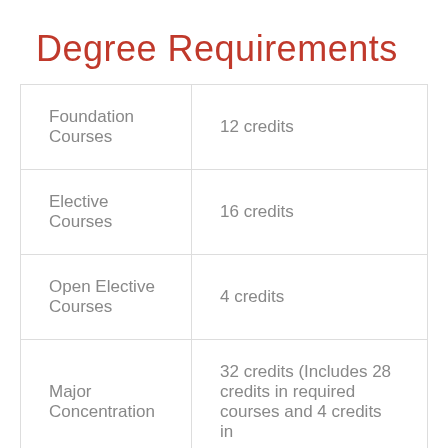Degree Requirements
| Course Type | Credits |
| --- | --- |
| Foundation Courses | 12 credits |
| Elective Courses | 16 credits |
| Open Elective Courses | 4 credits |
| Major Concentration | 32 credits (Includes 28 credits in required courses and 4 credits in |